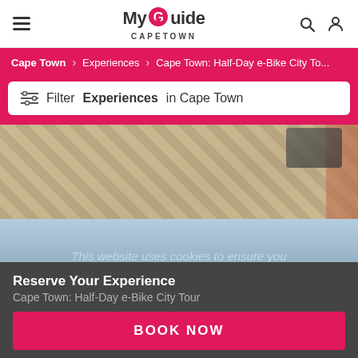MyGuide CAPETOWN
Cape Town > Experiences > Cape Town: Half-Day e-Bike City To...
Filter Experiences in Cape Town
[Figure (photo): Overhead view of cobblestone pavement with a partial view of a bicycle wheel in the top-right corner and an orange/red strip on the right side.]
[Figure (photo): Person with arms raised at a waterfront area with a Ferris wheel and cranes visible in the background. Cookie consent overlay text visible.]
This website uses cookies to ensure you get the best experience on our website.
Reserve Your Experience
Cape Town: Half-Day e-Bike City Tour
BOOK NOW